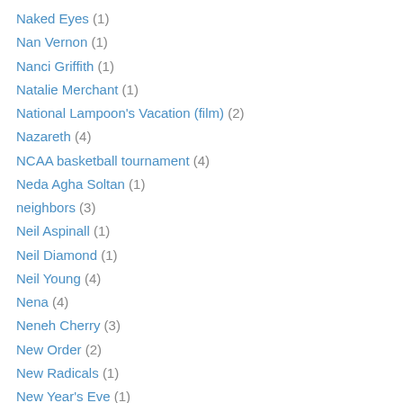Naked Eyes (1)
Nan Vernon (1)
Nanci Griffith (1)
Natalie Merchant (1)
National Lampoon's Vacation (film) (2)
Nazareth (4)
NCAA basketball tournament (4)
Neda Agha Soltan (1)
neighbors (3)
Neil Aspinall (1)
Neil Diamond (1)
Neil Young (4)
Nena (4)
Neneh Cherry (3)
New Order (2)
New Radicals (1)
New Year's Eve (1)
Nick Laird-Clowes (1)
Nick Lowe (1)
Nick Nolte (1)